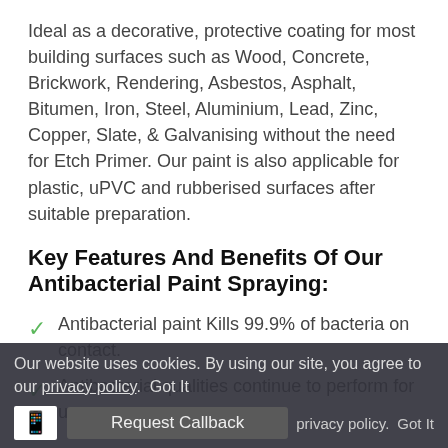Ideal as a decorative, protective coating for most building surfaces such as Wood, Concrete, Brickwork, Rendering, Asbestos, Asphalt, Bitumen, Iron, Steel, Aluminium, Lead, Zinc, Copper, Slate, & Galvanising without the need for Etch Primer. Our paint is also applicable for plastic, uPVC and rubberised surfaces after suitable preparation.
Key Features And Benefits Of Our Antibacterial Paint Spraying:
Antibacterial paint Kills 99.9% of bacteria on contact.
Antibacterial qualities continue to perform for up
Our website uses cookies. By using our site, you agree to our privacy policy. Got It
Request Callback